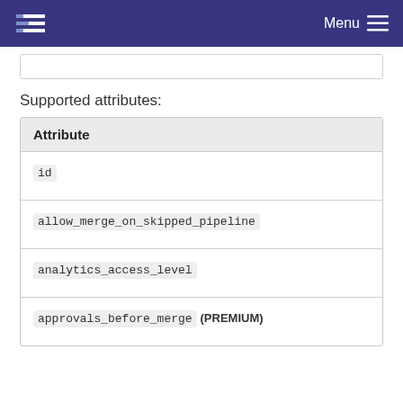Menu
Supported attributes:
| Attribute |
| --- |
| id |
| allow_merge_on_skipped_pipeline |
| analytics_access_level |
| approvals_before_merge (PREMIUM) |